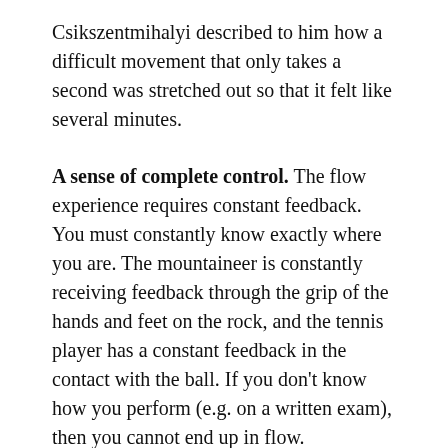Csikszentmihalyi described to him how a difficult movement that only takes a second was stretched out so that it felt like several minutes.
A sense of complete control. The flow experience requires constant feedback. You must constantly know exactly where you are. The mountaineer is constantly receiving feedback through the grip of the hands and feet on the rock, and the tennis player has a constant feedback in the contact with the ball. If you don't know how you perform (e.g. on a written exam), then you cannot end up in flow.
The constant positive feedback means that the